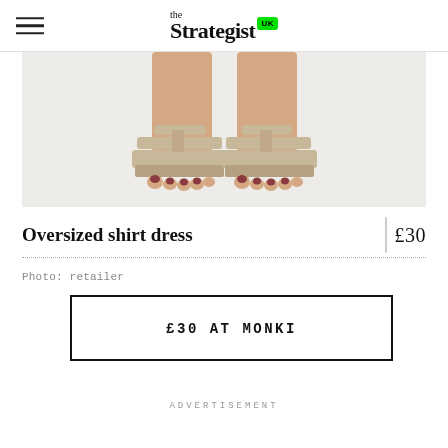the Strategist UK
[Figure (photo): Close-up of a person's legs and feet wearing beige/tan chunky platform sandals with velcro straps, against a white background.]
Oversized shirt dress
£30
Photo: retailer
£30 AT MONKI
ADVERTISEMENT